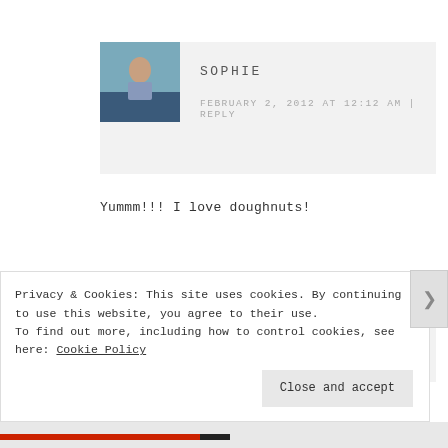[Figure (photo): Avatar photo of Sophie — person standing outdoors]
SOPHIE
FEBRUARY 2, 2012 AT 12:12 AM | REPLY
Yummm!!! I love doughnuts!
[Figure (logo): Blue snowflake / geometric logo for Michele @ The Hayward House B&B]
MICHELE @ THE HAYWARD HOUSE B&B
Privacy & Cookies: This site uses cookies. By continuing to use this website, you agree to their use. To find out more, including how to control cookies, see here: Cookie Policy
Close and accept